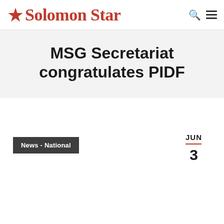Solomon Star
MSG Secretariat congratulates PIDF
News - National
JUN 3